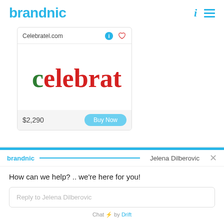[Figure (logo): brandnic logo in blue text]
[Figure (screenshot): Domain listing card for Celebratel.com showing cursive celebratel logo in red/green, price $2,290 and Buy Now button]
[Figure (screenshot): Drift chat widget showing brandnic branding, agent Jelena Dilberovic, message 'How can we help? .. we're here for you!' and reply input box]